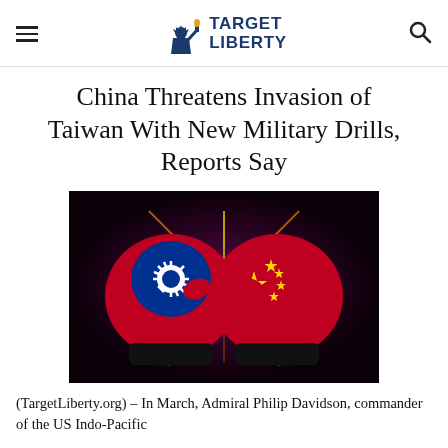TARGET LIBERTY
China Threatens Invasion of Taiwan With New Military Drills, Reports Say
[Figure (photo): Two boxing gloves bumping together, one decorated with the Taiwan flag (red, blue with white sun), the other with the China flag (red with yellow stars), against a dark dramatic background with light burst between them.]
(TargetLiberty.org) – In March, Admiral Philip Davidson, commander of the US Indo-Pacific